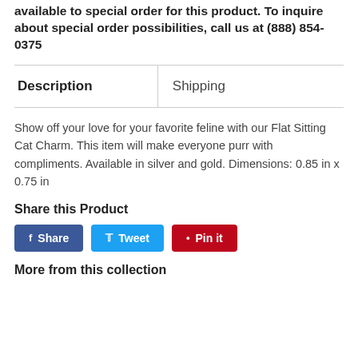available to special order for this product. To inquire about special order possibilities, call us at (888) 854-0375
| Description | Shipping |
| --- | --- |
Show off your love for your favorite feline with our Flat Sitting Cat Charm. This item will make everyone purr with compliments. Available in silver and gold. Dimensions: 0.85 in x 0.75 in
Share this Product
Share   Tweet   Pin it
More from this collection